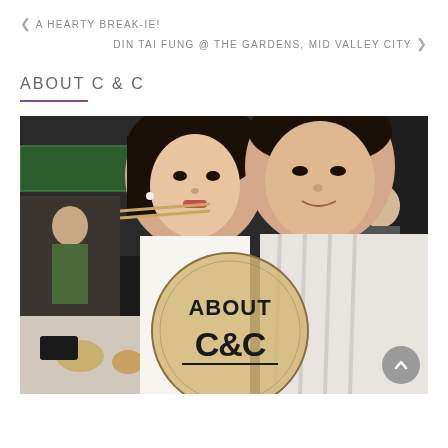< A HEARTY BREAK-IE!
DIN TAI FUNG @ THE GARDENS, MID VALLEY CITY >
ABOUT C & C
[Figure (photo): A couple selfie at a restaurant. A woman holds chopsticks up to her mouth while a man poses next to her. In the lower center of the photo is a circular logo overlay reading 'ABOUT C&C'. Food dishes and restaurant setting visible in the background.]